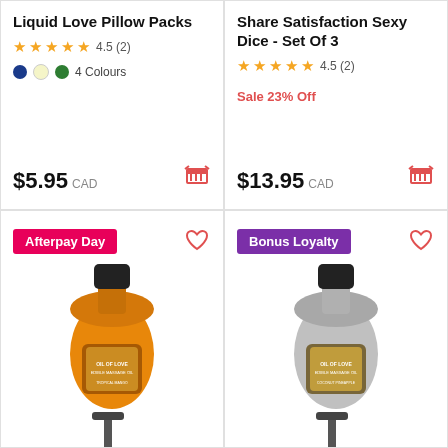Liquid Love Pillow Packs
4.5 (2)
4 Colours
$5.95 CAD
Share Satisfaction Sexy Dice - Set Of 3
4.5 (2)
Sale 23% Off
$13.95 CAD
Afterpay Day
[Figure (photo): Orange dropper bottle of oil product with black cap and dropper applicator]
Bonus Loyalty
[Figure (photo): Silver/grey dropper bottle of oil product with black cap and dropper applicator]